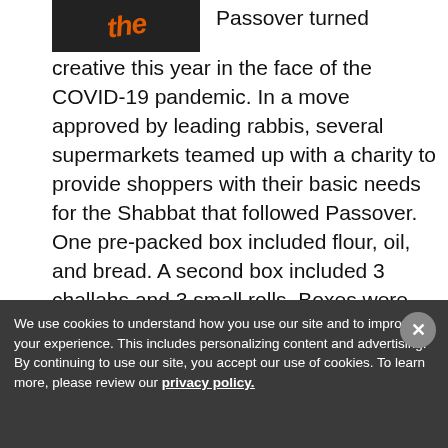[Figure (logo): Dark background logo with orange/red italic text]
Passover turned creative this year in the face of the COVID-19 pandemic. In a move approved by leading rabbis, several supermarkets teamed up with a charity to provide shoppers with their basic needs for the Shabbat that followed Passover. One pre-packed box included flour, oil, and bread. A second box included 3 challahs and 3 small rolls. Boxes were packed by volunteers at Evergreen in Monsey while the KRM Supermarket in Brooklyn packed the boxes. A
We use cookies to understand how you use our site and to improve your experience. This includes personalizing content and advertising. By continuing to use our site, you accept our use of cookies. To learn more, please review our privacy policy.